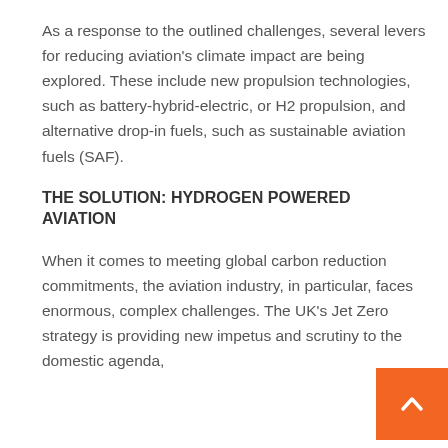As a response to the outlined challenges, several levers for reducing aviation's climate impact are being explored. These include new propulsion technologies, such as battery-hybrid-electric, or H2 propulsion, and alternative drop-in fuels, such as sustainable aviation fuels (SAF).
THE SOLUTION: HYDROGEN POWERED AVIATION
When it comes to meeting global carbon reduction commitments, the aviation industry, in particular, faces enormous, complex challenges. The UK's Jet Zero strategy is providing new impetus and scrutiny to the domestic agenda,